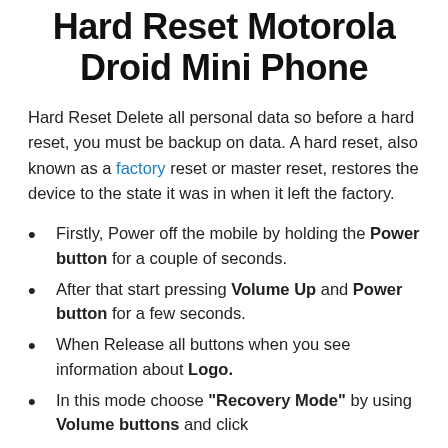Hard Reset Motorola Droid Mini Phone
Hard Reset Delete all personal data so before a hard reset, you must be backup on data. A hard reset, also known as a factory reset or master reset, restores the device to the state it was in when it left the factory.
Firstly, Power off the mobile by holding the Power button for a couple of seconds.
After that start pressing Volume Up and Power button for a few seconds.
When Release all buttons when you see information about Logo.
In this mode choose "Recovery Mode" by using Volume buttons and click